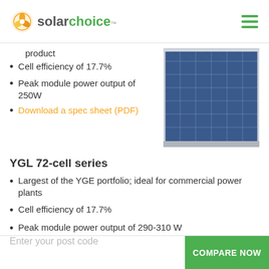solar choice
product
Cell efficiency of 17.7%
Peak module power output of 250W
Download a spec sheet (PDF)
[Figure (photo): Photograph of a blue polycrystalline solar panel with white grid lines and silver frame]
YGL 72-cell series
Largest of the YGE portfolio; ideal for commercial power plants
Cell efficiency of 17.7%
Peak module power output of 290-310 W
Download a spec sheet (PDF)
Enter your post code
COMPARE NOW